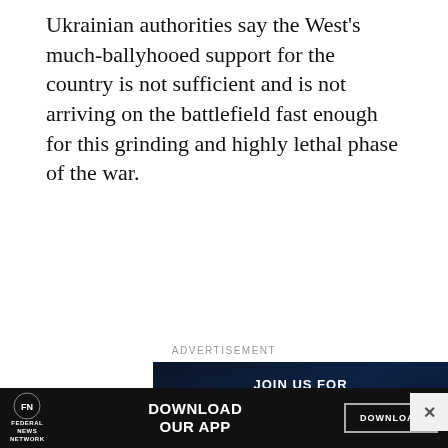Ukrainian authorities say the West's much-ballyhooed support for the country is not sufficient and is not arriving on the battlefield fast enough for this grinding and highly lethal phase of the war.
ADVERTISEMENT
[Figure (other): Advertisement for Federal News Network Cloud Exchange event, September 13-15, presented by Leidos, with a Register button.]
[Figure (other): Bottom banner advertisement: Federal News Network logo with text 'DOWNLOAD OUR APP' and a Download button. Close (X) button on right.]